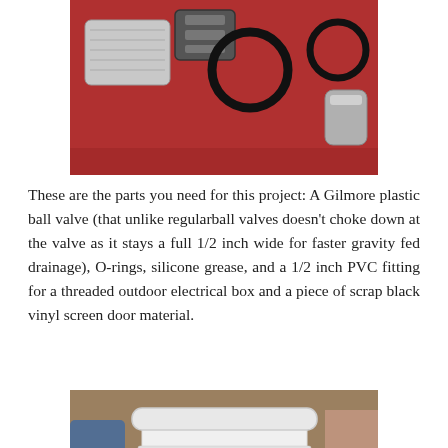[Figure (photo): Photo of hardware parts on a red surface: metal fittings, black O-rings, and other components for the project]
These are the parts you need for this project: A Gilmore plastic ball valve (that unlike regularball valves doesn't choke down at the valve as it stays a full 1/2 inch wide for faster gravity fed drainage), O-rings, silicone grease, and a 1/2 inch PVC fitting for a threaded outdoor electrical box and a piece of scrap black vinyl screen door material.
[Figure (photo): Photo of a white square plastic bucket with a handle, sitting on a red floor in a workshop setting]